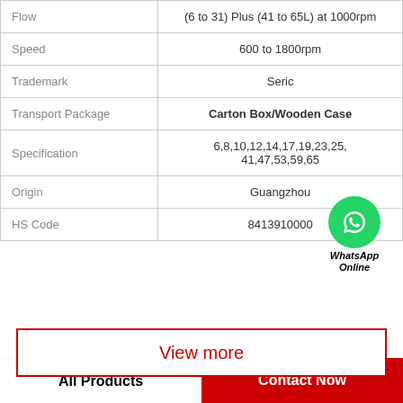|  |  |
| --- | --- |
| Flow | (6 to 31) Plus (41 to 65L) at 1000rpm |
| Speed | 600 to 1800rpm |
| Trademark | Seric |
| Transport Package | Carton Box/Wooden Case |
| Specification | 6,8,10,12,14,17,19,23,25,31,41,47,53,59,65 |
| Origin | Guangzhou |
| HS Code | 8413910000 |
[Figure (logo): WhatsApp Online green circle icon with phone handset, text WhatsApp Online below]
View more
All Products | Contact Now